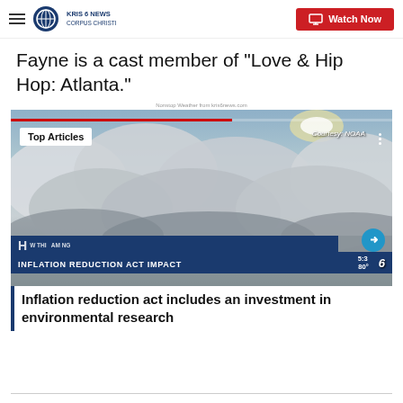KRIS 6 NEWS CORPUS CHRISTI | Watch Now
Fayne is a cast member of “Love & Hip Hop: Atlanta.”
Nonstop Weather from kris6news.com
[Figure (screenshot): Video player screenshot showing aerial view of storm clouds with NOAA courtesy label. Lower third shows text: INFLATION REDUCTION ACT IMPACT. Top Articles label visible top-left.]
Inflation reduction act includes an investment in environmental research